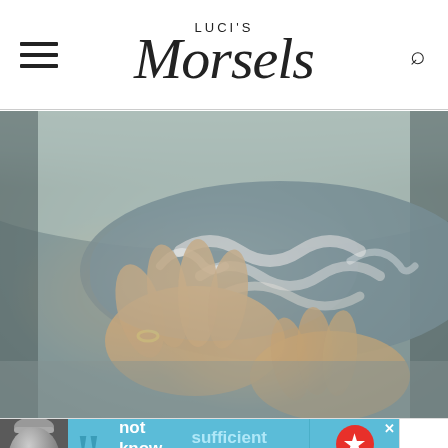LUCI'S Morsels
[Figure (photo): Close-up photo of hands holding a folded textured fabric or towel with a grey and white ornate swirl pattern, with additional grey/beige towels visible in the background, shot from above]
[Figure (photo): Advertisement banner showing a person in a knit hat on the left, a large quote mark, text reading 'not know how to be sufficient on my own and', a Dave Thomas Foundation for Adoption logo, and a close button]